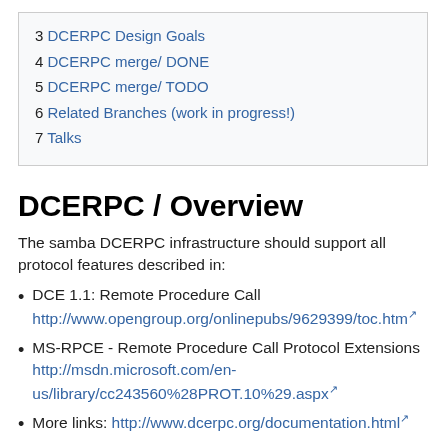3 DCERPC Design Goals
4 DCERPC merge/ DONE
5 DCERPC merge/ TODO
6 Related Branches (work in progress!)
7 Talks
DCERPC / Overview
The samba DCERPC infrastructure should support all protocol features described in:
DCE 1.1: Remote Procedure Call
http://www.opengroup.org/onlinepubs/9629399/toc.htm
MS-RPCE - Remote Procedure Call Protocol Extensions
http://msdn.microsoft.com/en-us/library/cc243560%28PROT.10%29.aspx
More links: http://www.dcerpc.org/documentation.html